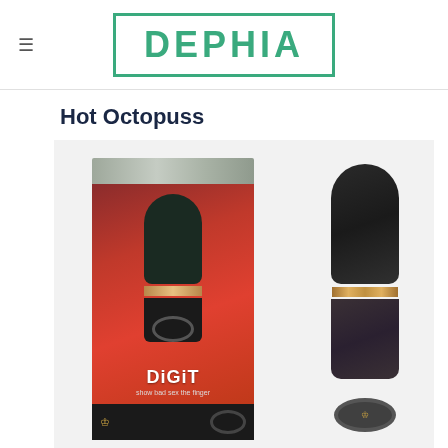DEPHIA
Hot Octopuss
[Figure (photo): Product photo showing the Hot Octopuss DiGiT finger vibrator next to its retail box. The box is red with dark top and bottom, showing 'DiGiT - show bad sex the finger' branding with a crown logo. The product itself is a black finger-shaped vibrator with a gold/rose gold band and a dark base with a finger ring attachment.]